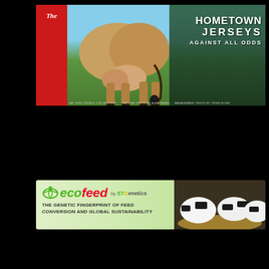[Figure (photo): Magazine cover of 'The Bullvine' showing a Jersey cow from behind with a large udder, green pasture and dark forest background, with the headline 'HOMETOWN JERSEYS AGAINST ALL ODDS' in white text on the right side]
[Figure (photo): Advertisement banner for 'ecofeed by STGenetics' showing the logo on a light green background with Holstein cows eating feed on the right side, with tagline 'THE GENETIC FINGERPRINT OF FEED CONVERSION AND GLOBAL SUSTAINABILITY']